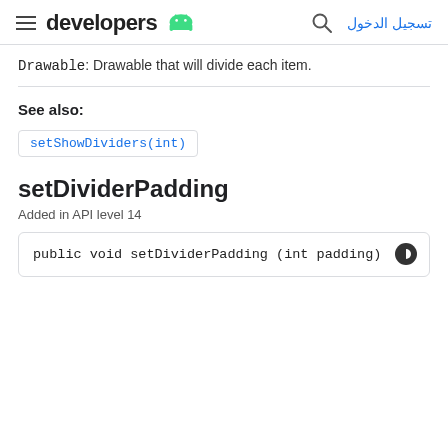developers [android logo] | تسجيل الدخول
Drawable: Drawable that will divide each item.
See also:
setShowDividers(int)
setDividerPadding
Added in API level 14
public void setDividerPadding (int padding)